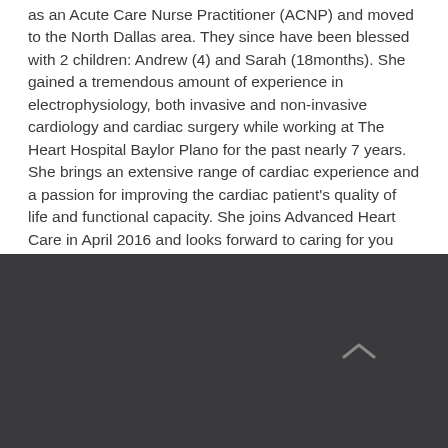as an Acute Care Nurse Practitioner (ACNP) and moved to the North Dallas area. They since have been blessed with 2 children: Andrew (4) and Sarah (18months). She gained a tremendous amount of experience in electrophysiology, both invasive and non-invasive cardiology and cardiac surgery while working at The Heart Hospital Baylor Plano for the past nearly 7 years. She brings an extensive range of cardiac experience and a passion for improving the cardiac patient's quality of life and functional capacity. She joins Advanced Heart Care in April 2016 and looks forward to caring for you and your loved one's heart health.
[Figure (other): Dark gray footer bar with a chevron/up-arrow icon on the right side]